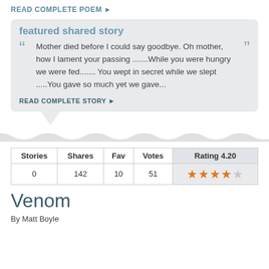READ COMPLETE POEM ►
featured shared story
Mother died before I could say goodbye. Oh mother, how I lament your passing .......While you were hungry we were fed....... You wept in secret while we slept .....You gave so much yet we gave...
READ COMPLETE STORY ►
| Stories | Shares | Fav | Votes | Rating 4.20 |
| --- | --- | --- | --- | --- |
| 0 | 142 | 10 | 51 | ★★★★☆ |
Venom
By Matt Boyle